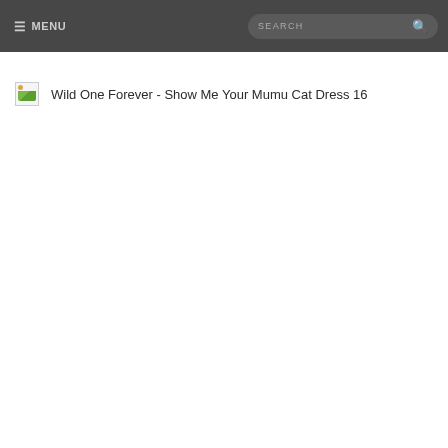≡ MENU  SEARCH 🔍
[Figure (photo): Broken image placeholder icon (small image thumbnail with broken image indicator)]
Wild One Forever - Show Me Your Mumu Cat Dress 16